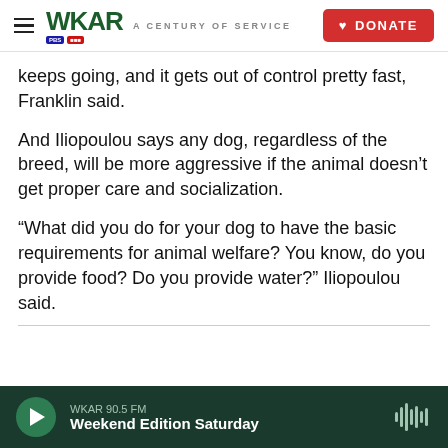WKAR A CENTURY OF SERVICE | DONATE
keeps going, and it gets out of control pretty fast, Franklin said.
And Iliopoulou says any dog, regardless of the breed, will be more aggressive if the animal doesn’t get proper care and socialization.
“What did you do for your dog to have the basic requirements for animal welfare? You know, do you provide food? Do you provide water?” Iliopoulou said.
WKAR 90.5 FM
Weekend Edition Saturday